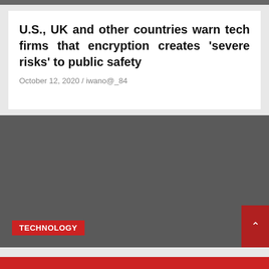U.S., UK and other countries warn tech firms that encryption creates 'severe risks' to public safety
October 12, 2020 / iwano@_84
[Figure (photo): Dark gray placeholder image area with a red 'TECHNOLOGY' badge in the bottom left and a red scroll-to-top button in the bottom right corner]